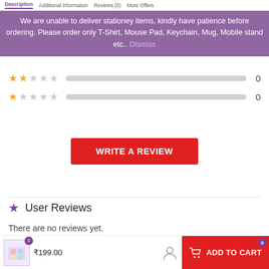Description | Additional information | Reviews (0) | More Offers
We are unable to deliver stationey items, kindly have patience before ordering. Please order only T-Shirt, Mouse Pad, Keychain, Mug, Mobile stand etc.. Dismiss
[Figure (infographic): 2-star rating bar showing 0 count, and 1-star rating bar showing 0 count]
WRITE A REVIEW
User Reviews
There are no reviews yet.
Be the first to review “Doll house toy for kids”
₹199.00   ADD TO CART